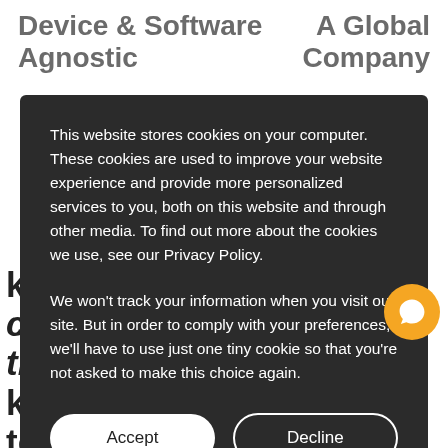Device & Software Agnostic
A Global Company
This website stores cookies on your computer. These cookies are used to improve your website experience and provide more personalized services to you, both on this website and through other media. To find out more about the cookies we use, see our Privacy Policy.
We won't track your information when you visit our site. But in order to comply with your preferences, we'll have to use just one tiny cookie so that you're not asked to make this choice again.
...S are a great collaborative partner, their k... and ability to re... to an evolving brief set the...
apart. They understood what we were trying to achieve for Coral and excelling at creating